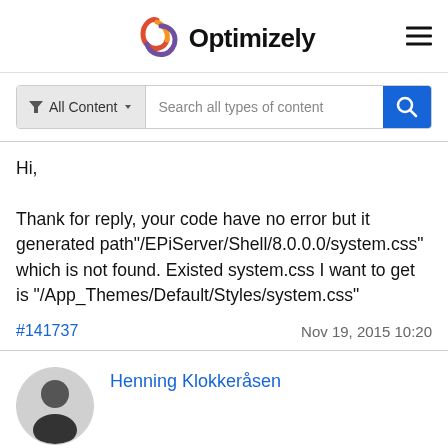[Figure (logo): Optimizely logo with colorful swirl icon and bold text]
[Figure (screenshot): Search bar with 'All Content' filter dropdown and 'Search all types of content' placeholder, blue search button]
Hi,

Thank for reply, your code have no error but it generated path"/EPiServer/Shell/8.0.0.0/system.css" which is not found. Existed system.css I want to get is "/App_Themes/Default/Styles/system.css"
#141737    Nov 19, 2015 10:20
Henning Klokkeråsen
✓ Accepted answer   ∧ 0 ∨